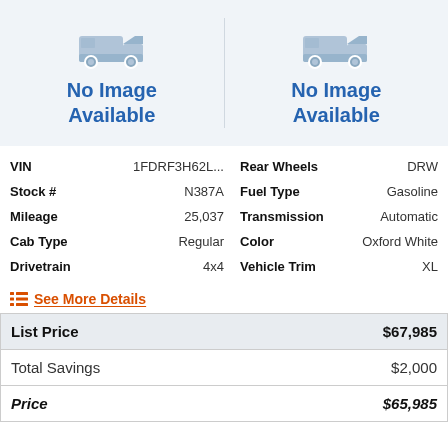[Figure (illustration): Two side-by-side vehicle placeholder images with truck icon and 'No Image Available' text in blue]
| VIN | 1FDRF3H62L... | Rear Wheels | DRW |
| Stock # | N387A | Fuel Type | Gasoline |
| Mileage | 25,037 | Transmission | Automatic |
| Cab Type | Regular | Color | Oxford White |
| Drivetrain | 4x4 | Vehicle Trim | XL |
See More Details
| List Price | $67,985 |
| --- | --- |
| Total Savings | $2,000 |
| Price | $65,985 |